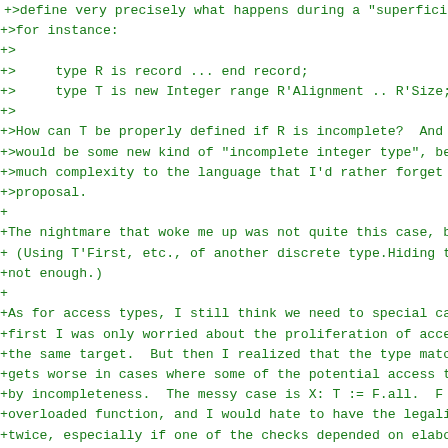+>define very precisely what happens during a "superficia
+>for instance:
+>
+>     type R is record ... end record;
+>     type T is new Integer range R'Alignment .. R'Size;
+>
+>How can T be properly defined if R is incomplete?  And
+>would be some new kind of "incomplete integer type", be
+>much complexity to the language that I'd rather forget
+>proposal.
+
+The nightmare that woke me up was not quite this case, b
+ (Using T'First, etc., of another discrete type.Hiding t
+not enough.)
+
+As for access types, I still think we need to special ca
+first I was only worried about the proliferation of acce
+the same target.  But then I realized that the type matc
+gets worse in cases where some of the potential access t
+by incompleteness.  The messy case is X: T := F.all.  F
+overloaded function, and I would hate to have the legali
+twice, especially if one of the checks depended on elabo
+
+There is another painful case though, and I am not sure
+it...
+
+limited with B;
+package A is
+   type Foo is record...end record;
+